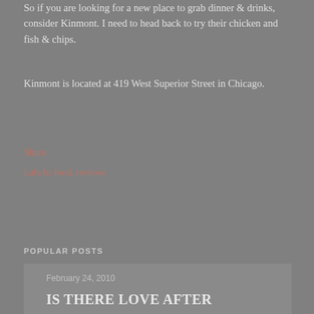So if you are looking for a new place to grab dinner & drinks, consider Kinmont. I need to head back to try their chicken and fish & chips.
Kinmont is located at 419 West Superior Street in Chicago.
Share
Labels: food, reviews
POPULAR POSTS
February 24, 2010
IS THERE LOVE AFTER